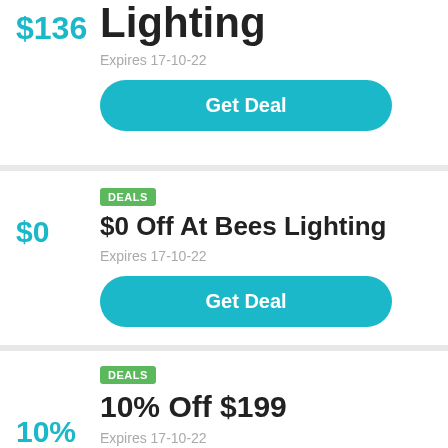$136
Lighting
Expires 17-10-22
Get Deal
DEALS
$0 Off At Bees Lighting
$0
Expires 17-10-22
Get Deal
DEALS
10% Off $199
10%
Expires 17-10-22
Get Deal